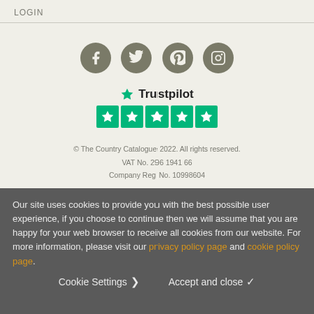LOGIN
[Figure (illustration): Four social media icons (Facebook, Twitter, Pinterest, Instagram) in dark olive/grey circular buttons]
[Figure (logo): Trustpilot logo with star icon and five green star rating boxes]
© The Country Catalogue 2022. All rights reserved. VAT No. 296 1941 66 Company Reg No. 10998604
Our site uses cookies to provide you with the best possible user experience, if you choose to continue then we will assume that you are happy for your web browser to receive all cookies from our website. For more information, please visit our privacy policy page and cookie policy page.
Cookie Settings ❯     Accept and close ✓